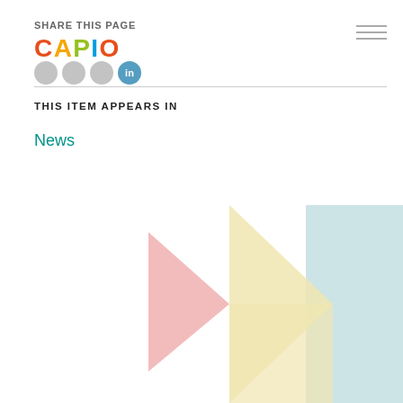SHARE THIS PAGE
[Figure (logo): CAPIO logo with colorful letters and social sharing icons (Facebook, Twitter, Google+, LinkedIn) and hamburger menu]
THIS ITEM APPEARS IN
News
[Figure (illustration): Decorative geometric illustration with overlapping triangles in pastel pink, cream/yellow, and light blue/teal colors]